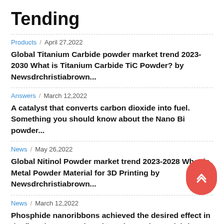Tending
Products / April 27,2022
Global Titanium Carbide powder market trend 2023-2030 What is Titanium Carbide TiC Powder? by Newsdrchristiabrown...
Answers / March 12,2022
A catalyst that converts carbon dioxide into fuel. Something you should know about the Nano Bi powder...
News / May 26,2022
Global Nitinol Powder market trend 2023-2028 What is Metal Powder Material for 3D Printing by Newsdrchristiabrown...
News / March 12,2022
Phosphide nanoribbons achieved the desired effect in the first demonstration about the market molybdenum disilicide prope...
Answers / March 22,2022
Gold price fluctuations have a certain impact on global financial